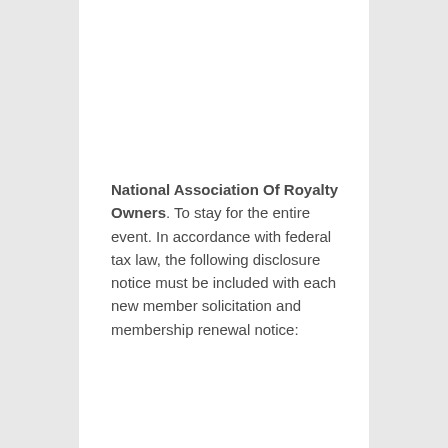National Association Of Royalty Owners. To stay for the entire event. In accordance with federal tax law, the following disclosure notice must be included with each new member solicitation and membership renewal notice: